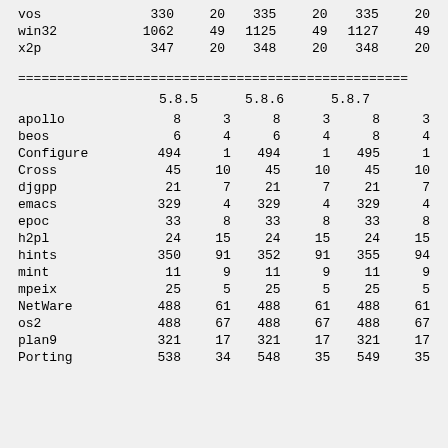|  | 5.8.5 |  | 5.8.6 |  | 5.8.7 |  |
| --- | --- | --- | --- | --- | --- | --- |
| vos | 330 | 20 | 335 | 20 | 335 | 20 |
| win32 | 1062 | 49 | 1125 | 49 | 1127 | 49 |
| x2p | 347 | 20 | 348 | 20 | 348 | 20 |
==================================================
|  | 5.8.5 |  | 5.8.6 |  | 5.8.7 |  |
| --- | --- | --- | --- | --- | --- | --- |
| apollo | 8 | 3 | 8 | 3 | 8 | 3 |
| beos | 6 | 4 | 6 | 4 | 8 | 4 |
| Configure | 494 | 1 | 494 | 1 | 495 | 1 |
| Cross | 45 | 10 | 45 | 10 | 45 | 10 |
| djgpp | 21 | 7 | 21 | 7 | 21 | 7 |
| emacs | 329 | 4 | 329 | 4 | 329 | 4 |
| epoc | 33 | 8 | 33 | 8 | 33 | 8 |
| h2pl | 24 | 15 | 24 | 15 | 24 | 15 |
| hints | 350 | 91 | 352 | 91 | 355 | 94 |
| mint | 11 | 9 | 11 | 9 | 11 | 9 |
| mpeix | 25 | 5 | 25 | 5 | 25 | 5 |
| NetWare | 488 | 61 | 488 | 61 | 488 | 61 |
| os2 | 488 | 67 | 488 | 67 | 488 | 67 |
| plan9 | 321 | 17 | 321 | 17 | 321 | 17 |
| Porting | 538 | 34 | 548 | 35 | 549 | 35 |